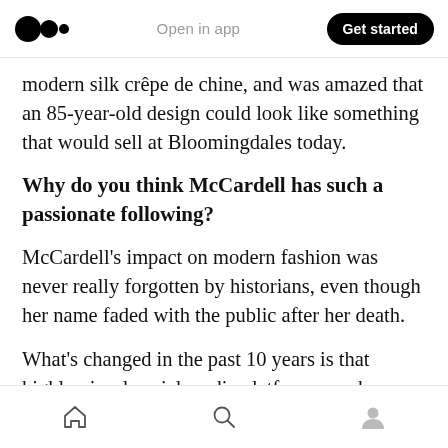Open in app | Get started
modern silk crêpe de chine, and was amazed that an 85-year-old design could look like something that would sell at Bloomingdales today.
Why do you think McCardell has such a passionate following?
McCardell's impact on modern fashion was never really forgotten by historians, even though her name faded with the public after her death.
What's changed in the past 10 years is that highly visual social media platforms, such as
Home | Search | Profile